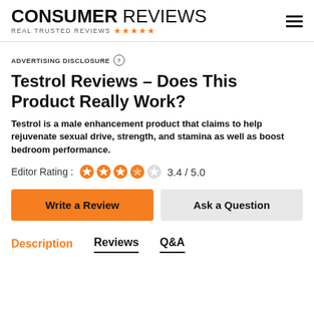CONSUMER REVIEWS — REAL TRUSTED REVIEWS
ADVERTISING DISCLOSURE
Testrol Reviews – Does This Product Really Work?
Testrol is a male enhancement product that claims to help rejuvenate sexual drive, strength, and stamina as well as boost bedroom performance.
Editor Rating : 3.4 / 5.0
Write a Review | Ask a Question
Description | Reviews | Q&A